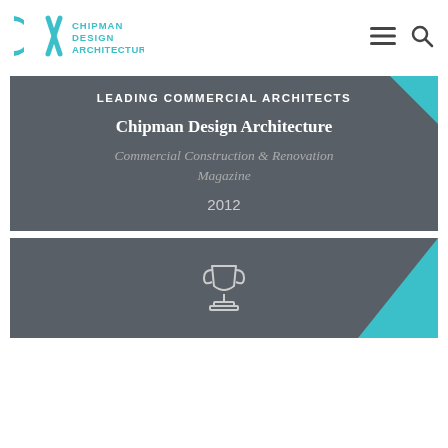Chipman Design Architecture — navigation header with logo, menu and search icons
LEADING COMMERCIAL ARCHITECTS
Chipman Design Architecture
Commercial Construction & Renovation Magazine
2012
[Figure (illustration): Second award card with teal corner triangle and trophy icon, partially visible at bottom of page]